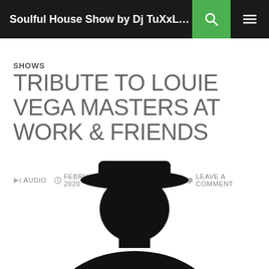Soulful House Show by Dj TuXxL Univers ...
SHOWS
TRIBUTE TO LOUIE VEGA MASTERS AT WORK & FRIENDS
🔊 AUDIO  🕐 FEBRUARY 1, 2020  👤 DJ TUXXL  💬 LEAVE A COMMENT
[Figure (illustration): Black silhouette of a person wearing a hat, cropped, shown from approximately chest upward, on white background]